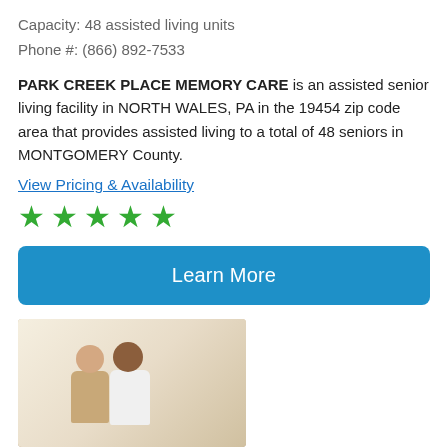Capacity: 48 assisted living units
Phone #: (866) 892-7533
PARK CREEK PLACE MEMORY CARE is an assisted senior living facility in NORTH WALES, PA in the 19454 zip code area that provides assisted living to a total of 48 seniors in MONTGOMERY County.
View Pricing & Availability
[Figure (other): Five green star rating icons]
Learn More
[Figure (photo): Photo of two women, one elderly and one younger caregiver, standing together in a hallway]